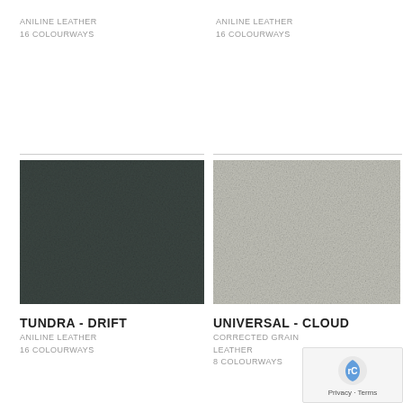ANILINE LEATHER
16 COLOURWAYS
ANILINE LEATHER
16 COLOURWAYS
[Figure (photo): Close-up texture photo of dark charcoal/slate aniline leather swatch]
[Figure (photo): Close-up texture photo of light grey/cloud corrected grain leather swatch]
TUNDRA - DRIFT
ANILINE LEATHER
16 COLOURWAYS
UNIVERSAL - CLOUD
CORRECTED GRAIN LEATHER
8 COLOURWAYS